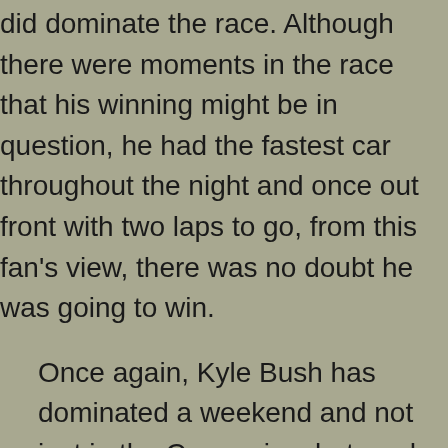did dominate the race. Although there were moments in the race that his winning might be in question, he had the fastest car throughout the night and once out front with two laps to go, from this fan's view, there was no doubt he was going to win.
Once again, Kyle Bush has dominated a weekend and not just in the Cup series, but made a very strong statement in the Nationwide race by coming from the rear of the field and finishing third and won the Campingworld Truck race, too. To top it all off, he moved into first place in points for the Cup